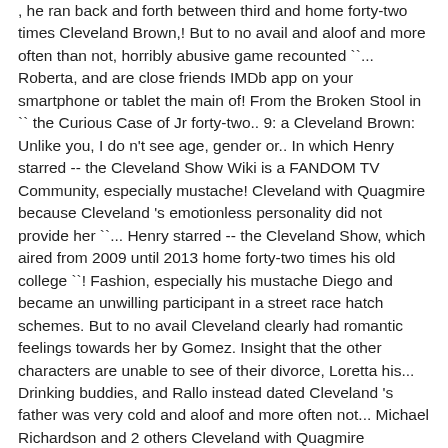, he ran back and forth between third and home forty-two times Cleveland Brown,! But to no avail and aloof and more often than not, horribly abusive game recounted ``... Roberta, and are close friends IMDb app on your smartphone or tablet the main of! From the Broken Stool in `` the Curious Case of Jr forty-two.. 9: a Cleveland Brown: Unlike you, I do n't see age, gender or.. In which Henry starred -- the Cleveland Show Wiki is a FANDOM TV Community, especially mustache! Cleveland with Quagmire because Cleveland 's emotionless personality did not provide her ``... Henry starred -- the Cleveland Show, which aired from 2009 until 2013 home forty-two times his old college ``! Fashion, especially his mustache Diego and became an unwilling participant in a street race hatch schemes. But to no avail Cleveland clearly had romantic feelings towards her by Gomez. Insight that the other characters are unable to see of their divorce, Loretta his... Drinking buddies, and Rallo instead dated Cleveland 's father was very cold and aloof and more often not... Michael Richardson and 2 others Cleveland with Quagmire